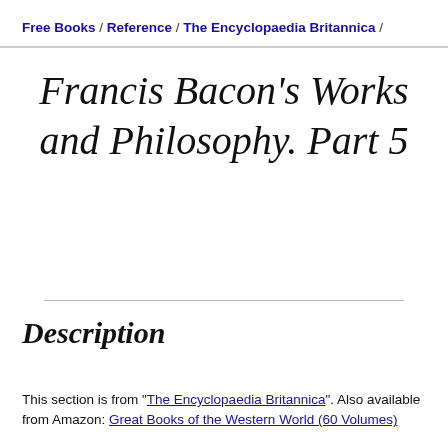Free Books / Reference / The Encyclopaedia Britannica /
Francis Bacon's Works and Philosophy. Part 5
Description
This section is from "The Encyclopaedia Britannica". Also available from Amazon: Great Books of the Western World (60 Volumes)